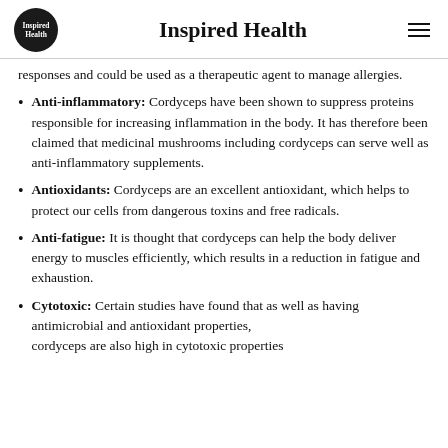Inspired Health
responses and could be used as a therapeutic agent to manage allergies.
Anti-inflammatory: Cordyceps have been shown to suppress proteins responsible for increasing inflammation in the body. It has therefore been claimed that medicinal mushrooms including cordyceps can serve well as anti-inflammatory supplements.
Antioxidants: Cordyceps are an excellent antioxidant, which helps to protect our cells from dangerous toxins and free radicals.
Anti-fatigue: It is thought that cordyceps can help the body deliver energy to muscles efficiently, which results in a reduction in fatigue and exhaustion.
Cytotoxic: Certain studies have found that as well as having antimicrobial and antioxidant properties, cordyceps are also high in cytotoxic properties